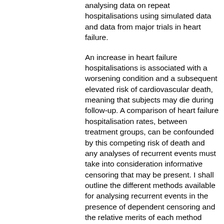analysing data on repeat hospitalisations using simulated data and data from major trials in heart failure.
An increase in heart failure hospitalisations is associated with a worsening condition and a subsequent elevated risk of cardiovascular death, meaning that subjects may die during follow-up. A comparison of heart failure hospitalisation rates, between treatment groups, can be confounded by this competing risk of death and any analyses of recurrent events must take into consideration informative censoring that may be present. I shall outline the different methods available for analysing recurrent events in the presence of dependent censoring and the relative merits of each method shall be discussed. In addition, data from multiple large scale clinical trials in cardiovascular